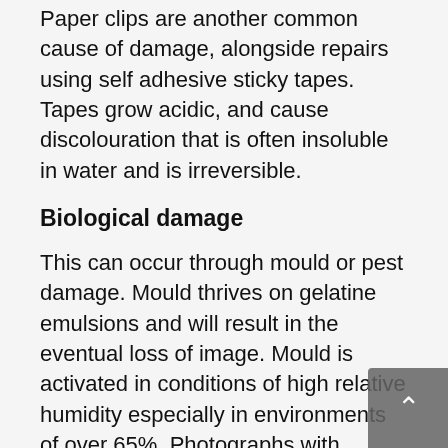Paper clips are another common cause of damage, alongside repairs using self adhesive sticky tapes. Tapes grow acidic, and cause discolouration that is often insoluble in water and is irreversible.
Biological damage
This can occur through mould or pest damage. Mould thrives on gelatine emulsions and will result in the eventual loss of image. Mould is activated in conditions of high relative humidity especially in environments of over 65%. Photographs with 'active' mould must be taken away from non-affected collection items and dealt with appropriately.
Gelatine or albumen based emulsions are a food source for insects and thrive in the same conditions as mould, resulting in damage to the paper support and emulsion layer of a photograph. Other